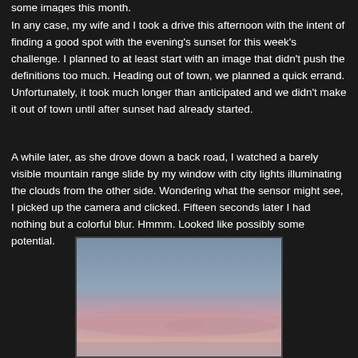some images this month.
In any case, my wife and I took a drive this afternoon with the intent of finding a good spot with the evening's sunset for this week's challenge. I planned to at least start with an image that didn't push the definitions too much. Heading out of town, we planned a quick errand. Unfortunately, it took much longer than anticipated and we didn't make it out of town until after sunset had already started.
A while later, as she drove down a back road, I watched a barely visible mountain range slide by my window with city lights illuminating the clouds from the other side. Wondering what the sensor might see, I picked up the camera and clicked. Fifteen seconds later I had nothing but a colorful blur. Hmmm. Looked like possibly some potential.
[Figure (photo): A blurry long-exposure photo of a twilight sky showing a gradient from blue-grey at the top to pinkish-purple hues near the horizon, taken through a car window while moving.]